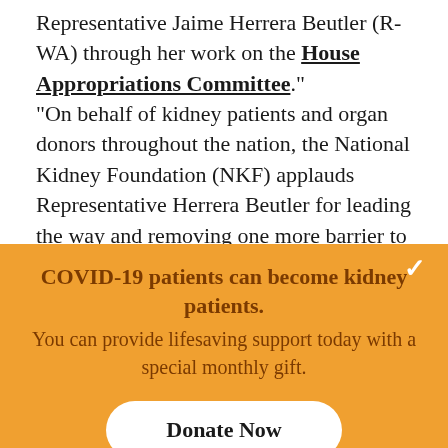Representative Jaime Herrera Beutler (R-WA) through her work on the House Appropriations Committee."
“On behalf of kidney patients and organ donors throughout the nation, the National Kidney Foundation (NKF) applauds Representative Herrera Beutler for leading the way and removing one more barrier to living organ donation. NKF is proud to have aided Representative Herrera Beutler in helping to lay the groundwork on this provision, and we sincerely
COVID-19 patients can become kidney patients. You can provide lifesaving support today with a special monthly gift.
Donate Now